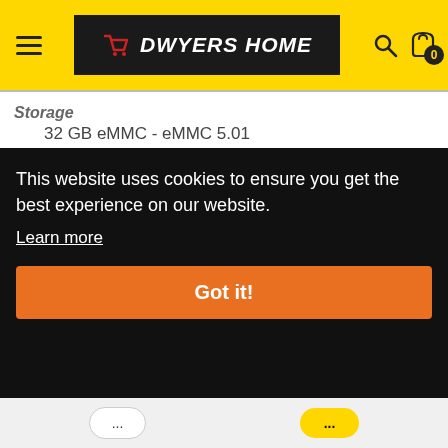DWYERS HOME
Storage
32 GB eMMC - eMMC 5.01
Dimensions (WxDxH)
28.96 cm x 20.24 cm x 1.99 cm
Environmental Standards
TCO Certified Notebooks 8, ENERGY STAR Qualified EPEAT Silver
Localisation
This website uses cookies to ensure you get the best experience on our website. Learn more Got it!